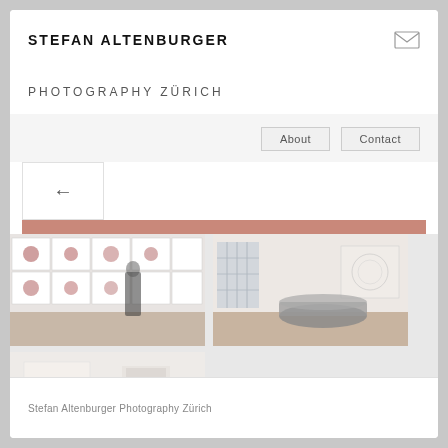STEFAN ALTENBURGER
PHOTOGRAPHY ZÜRICH
About  Contact
[Figure (screenshot): Website screenshot showing photography portfolio of Stefan Altenburger Photography Zürich with three gallery images of art museum interiors with blurred figures]
Stefan Altenburger Photography Zürich